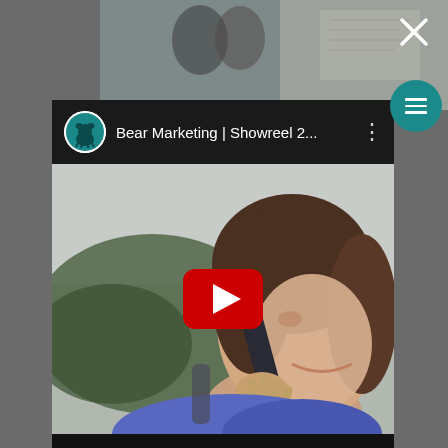[Figure (screenshot): Screenshot of a YouTube video embed showing a video titled 'Bear Marketing | Showreel 2...' with a thumbnail of a woman talking on a phone, overlaid with the YouTube play button. The video card appears as a modal/popup over a blurred background with a close (X) button in the top right and a teal hamburger menu circle.]